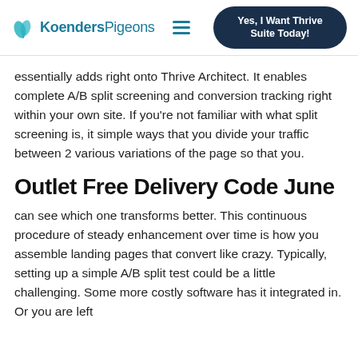Koenders Pigeons | Yes, I Want Thrive Suite Today!
essentially adds right onto Thrive Architect. It enables complete A/B split screening and conversion tracking right within your own site. If you're not familiar with what split screening is, it simple ways that you divide your traffic between 2 various variations of the page so that you.
Outlet Free Delivery Code June
can see which one transforms better. This continuous procedure of steady enhancement over time is how you assemble landing pages that convert like crazy. Typically, setting up a simple A/B split test could be a little challenging. Some more costly software has it integrated in. Or you are left